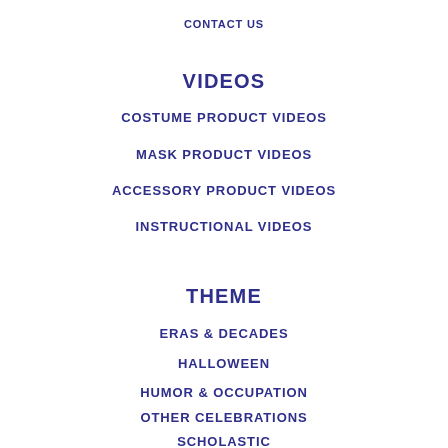CONTACT US
VIDEOS
COSTUME PRODUCT VIDEOS
MASK PRODUCT VIDEOS
ACCESSORY PRODUCT VIDEOS
INSTRUCTIONAL VIDEOS
THEME
ERAS & DECADES
HALLOWEEN
HUMOR & OCCUPATION
OTHER CELEBRATIONS
SCHOLASTIC